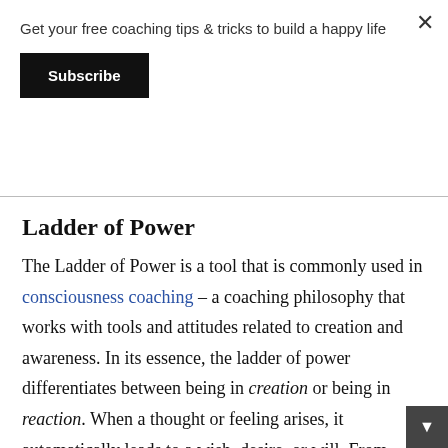Get your free coaching tips & tricks to build a happy life
Subscribe
Ladder of Power
The Ladder of Power is a tool that is commonly used in consciousness coaching – a coaching philosophy that works with tools and attitudes related to creation and awareness. In its essence, the ladder of power differentiates between being in creation or being in reaction. When a thought or feeling arises, it automatically leads to a wish, desire, or will. From there we will need to make a